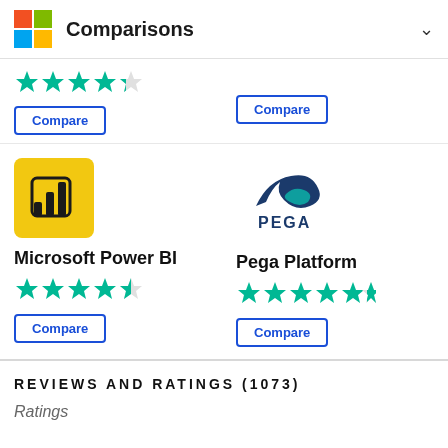Comparisons
[Figure (logo): Microsoft logo (4 colored squares: red, green, blue, yellow)]
[Figure (logo): Power BI logo - yellow square with bar chart icon]
Microsoft Power BI
[Figure (logo): Pega Platform logo - dark blue dolphin/bird icon with PEGA text]
Pega Platform
REVIEWS AND RATINGS (1073)
Ratings